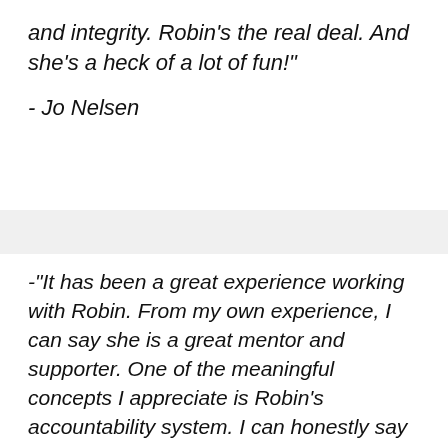and integrity. Robin's the real deal. And she's a heck of a lot of fun!"
- Jo Nelsen
-"It has been a great experience working with Robin. From my own experience, I can say she is a great mentor and supporter.  One of the meaningful concepts I appreciate is Robin's accountability system. I can honestly say it is very beneficial to me; I try to apply her insights and improve my personal and business life.' -